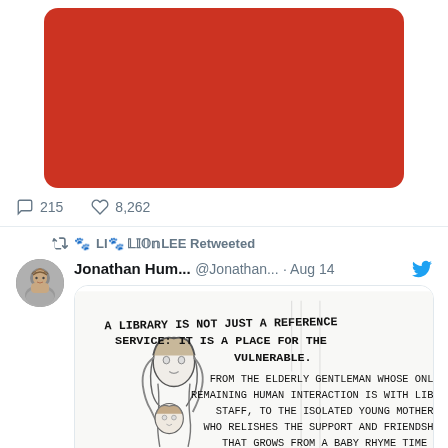[Figure (screenshot): Red image placeholder in top tweet]
215   8,262
LI🐾 LIONLEE Retweeted
Jonathan Hum... @Jonathan... · Aug 14
[Figure (illustration): Sketch illustration of a mother and child with handwritten text: A LIBRARY IS NOT JUST A REFERENCE SERVICE: IT IS A PLACE FOR THE VULNERABLE. FROM THE ELDERLY GENTLEMAN WHOSE ONLY REMAINING HUMAN INTERACTION IS WITH LIBRARY STAFF, TO THE ISOLATED YOUNG MOTHER WHO RELISHES THE SUPPORT AND FRIENDSHIP THAT GROWS FROM A BABY RHYME TIME]
13   1,130